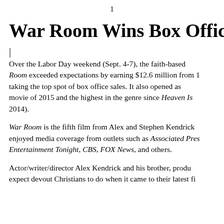1
War Room Wins Box Offic…
|
Over the Labor Day weekend (Sept. 4-7), the faith-based Room exceeded expectations by earning $12.6 million from 1 taking the top spot of box office sales. It also opened as movie of 2015 and the highest in the genre since Heaven Is 2014).
War Room is the fifth film from Alex and Stephen Kendrick enjoyed media coverage from outlets such as Associated Pres Entertainment Tonight, CBS, FOX News, and others.
Actor/writer/director Alex Kendrick and his brother, produ expect devout Christians to do when it came to their latest fi